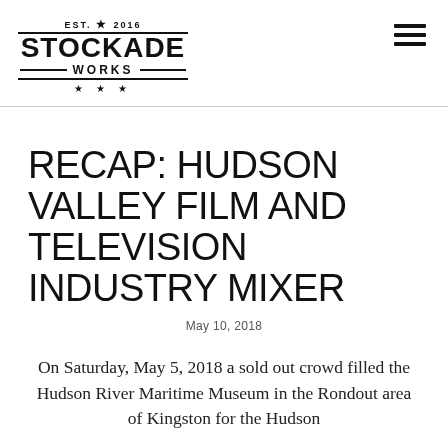EST. ★ 2016 STOCKADE WORKS
RECAP: HUDSON VALLEY FILM AND TELEVISION INDUSTRY MIXER
May 10, 2018
On Saturday, May 5, 2018 a sold out crowd filled the Hudson River Maritime Museum in the Rondout area of Kingston for the Hudson